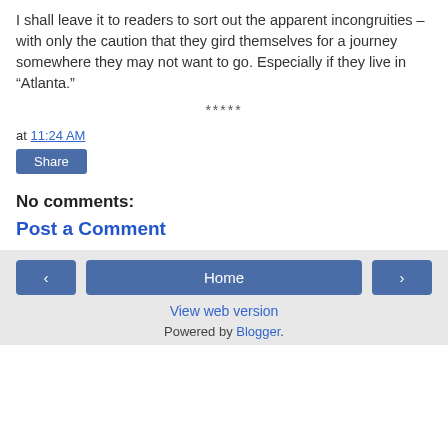I shall leave it to readers to sort out the apparent incongruities – with only the caution that they gird themselves for a journey somewhere they may not want to go. Especially if they live in “Atlanta.”
*****
at 11:24 AM
Share
No comments:
Post a Comment
‹  Home  ›  View web version  Powered by Blogger.